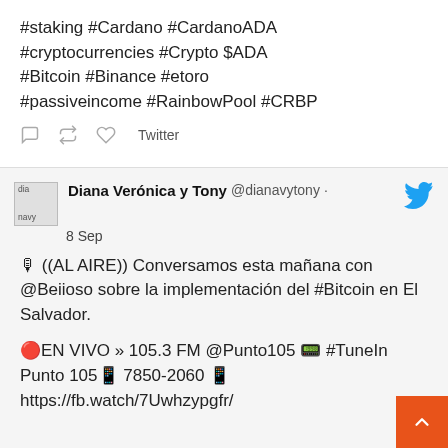v=C_gSUlEm-JA

#staking #Cardano #CardanoADA #cryptocurrencies #Crypto $ADA #Bitcoin #Binance #etoro #passiveincome #RainbowPool #CRBP
Twitter
Diana Verónica y Tony @dianavytony · 8 Sep
🎙 ((AL AIRE)) Conversamos esta mañana con @Beiioso sobre la implementación del #Bitcoin en El Salvador.

🔴EN VIVO » 105.3 FM @Punto105 📟 #TuneIn Punto 105📱 7850-2060 📱 https://fb.watch/7Uwhzypgfr/